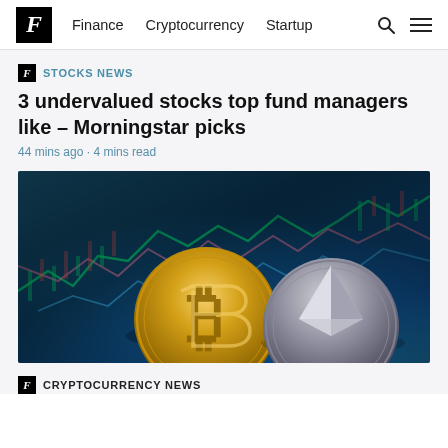F | Finance  Cryptocurrency  Startup
F STOCKS NEWS
3 undervalued stocks top fund managers like – Morningstar picks
44 mins ago · 4 mins read
[Figure (photo): Photo of a Bitcoin gold coin and an Ethereum silver coin in front of a blurred stock market chart screen with colorful candlestick lines on blue background]
F CRYPTOCURRENCY NEWS